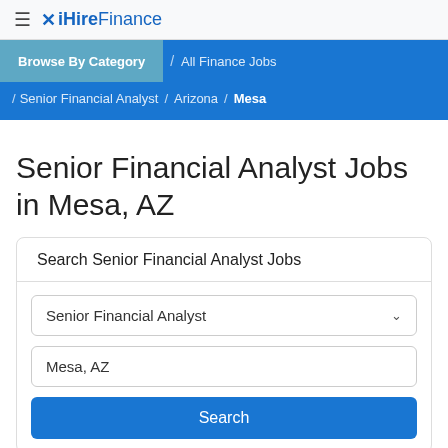≡ iHireFinance
Browse By Category / All Finance Jobs / Senior Financial Analyst / Arizona / Mesa
Senior Financial Analyst Jobs in Mesa, AZ
Search Senior Financial Analyst Jobs
Senior Financial Analyst
Mesa, AZ
Search